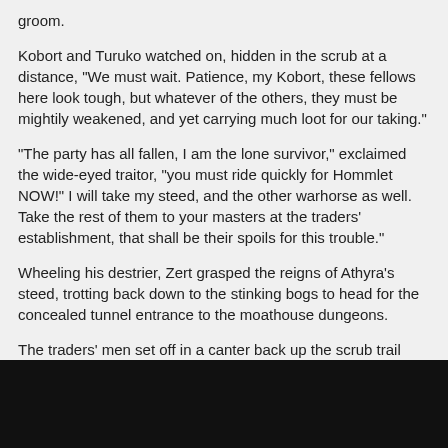groom.
Kobort and Turuko watched on, hidden in the scrub at a distance, "We must wait. Patience, my Kobort, these fellows here look tough, but whatever of the others, they must be mightily weakened, and yet carrying much loot for our taking."
"The party has all fallen, I am the lone survivor," exclaimed the wide-eyed traitor, "you must ride quickly for Hommlet NOW!" I will take my steed, and the other warhorse as well. Take the rest of them to your masters at the traders' establishment, that shall be their spoils for this trouble."
Wheeling his destrier, Zert grasped the reigns of Athyra's steed, trotting back down to the stinking bogs to head for the concealed tunnel entrance to the moathouse dungeons.
The traders' men set off in a canter back up the scrub trail towards Hommlet.
"Ready your warhorse and your lance, Kobort," commanded the scrawny monk, "you must run through any survivors that issue forth from the moathouse!"
And with that, the strange pair advanced down the trail towards the moathouse...